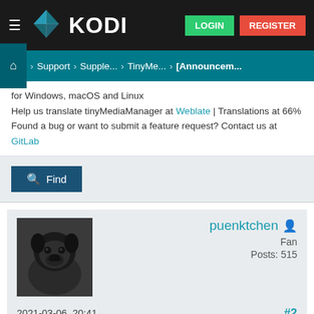KODI — LOGIN | REGISTER
Home > Support > Supple... > TinyMe... > [Announcem...
for Windows, macOS and Linux
Help us translate tinyMediaManager at Weblate | Translations at 66%
Found a bug or want to submit a feature request? Contact us at GitLab
Find
puenktchen
Fan
Posts: 515
2021-03-06, 20:41
#2
May i ask what's the reason behind this move?